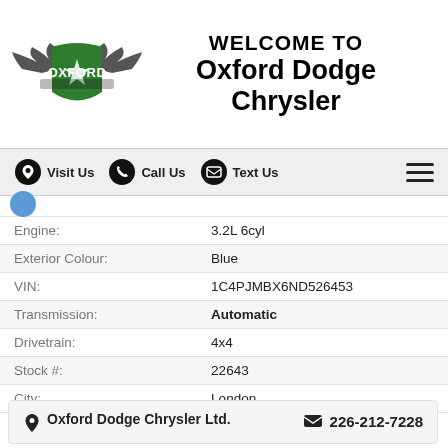[Figure (logo): Oxford Dodge Chrysler logo with wings and green shield]
WELCOME TO Oxford Dodge Chrysler
[Figure (infographic): Navigation bar with Visit Us, Call Us, Text Us icons and hamburger menu]
| Field | Value |
| --- | --- |
| Engine: | 3.2L 6cyl |
| Exterior Colour: | Blue |
| VIN: | 1C4PJMBX6ND526453 |
| Transmission: | Automatic |
| Drivetrain: | 4x4 |
| Stock #: | 22643 |
| City: | London |
Oxford Dodge Chrysler Ltd.  226-212-7228